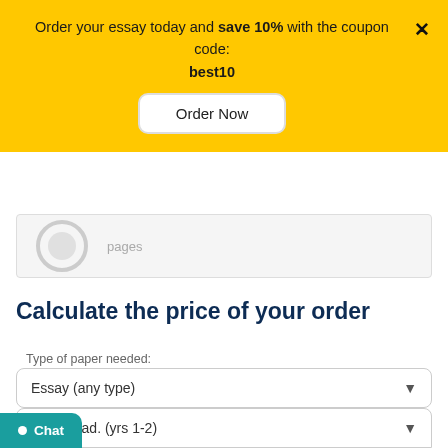Order your essay today and save 10% with the coupon code: best10
Order Now
[Figure (other): Partially visible circular chart/donut with label 'pages']
Calculate the price of your order
Type of paper needed:
Essay (any type)
Academic level:
Undergrad. (yrs 1-2)
Chat